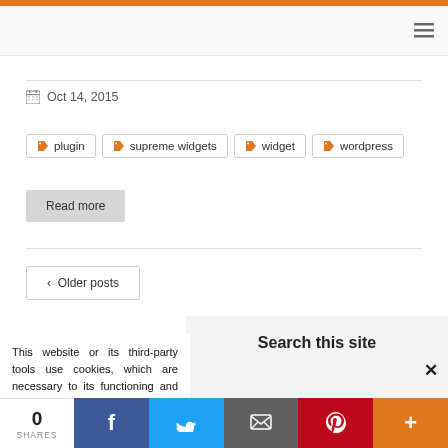Oct 14, 2015
plugin  supreme widgets  widget  wordpress
Read more
< Older posts
Search this site
This website or its third-party tools use cookies, which are necessary to its functioning and required to achieve the purposes illustrated in the cookie policy. If you want to know more or withdraw your consent to all or some of the cookies, please refer to the cookie policy. By closing this banner, scrolling
0 SHARES